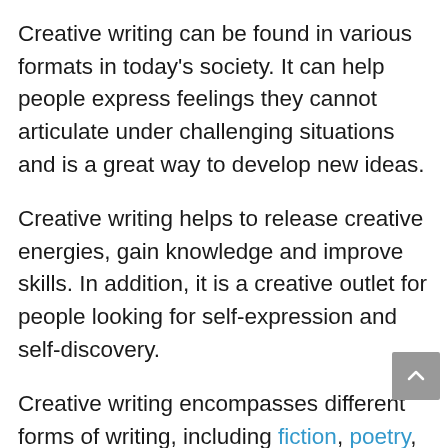Creative writing can be found in various formats in today's society. It can help people express feelings they cannot articulate under challenging situations and is a great way to develop new ideas.
Creative writing helps to release creative energies, gain knowledge and improve skills. In addition, it is a creative outlet for people looking for self-expression and self-discovery.
Creative writing encompasses different forms of writing, including fiction, poetry, creative non-fiction, journalism, song lyrics,